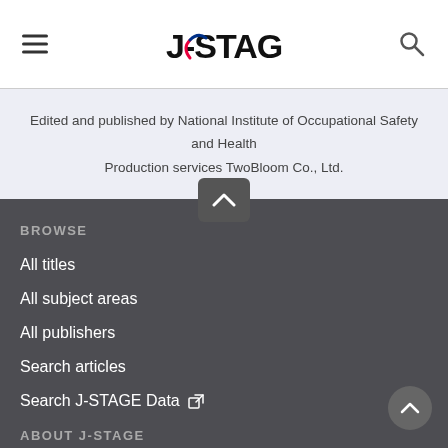J-STAGE
Edited and published by National Institute of Occupational Safety and Health
Production services TwoBloom Co., Ltd.
BROWSE
All titles
All subject areas
All publishers
Search articles
Search J-STAGE Data
ABOUT J-STAGE